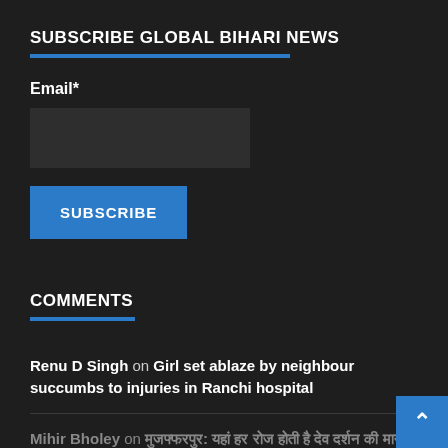SUBSCRIBE GLOBAL BIHARI NEWS
Email*
COMMENTS
Renu D Singh on Girl set ablaze by neighbour succumbs to injuries in Ranchi hospital
Mihir Bholey on मुजफ्फरपुर: यहां हर रोज होती है देव दर्शन की मान्यता
Rakesh Kumar on मुजफ्फरपुर: यहां हर रोज होती है